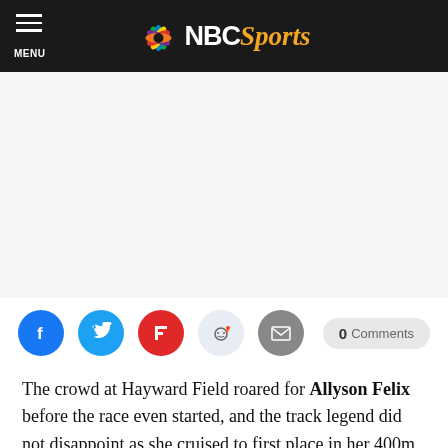NBC Sports
[Figure (other): White/blank advertisement space]
Social share buttons: Facebook, Twitter, Flipboard, Reddit, Email. 0 Comments button.
The crowd at Hayward Field roared for Allyson Felix before the race even started, and the track legend did not disappoint as she cruised to first place in her 400m heat.
“It felt really great,” Felix told reporters of the applause